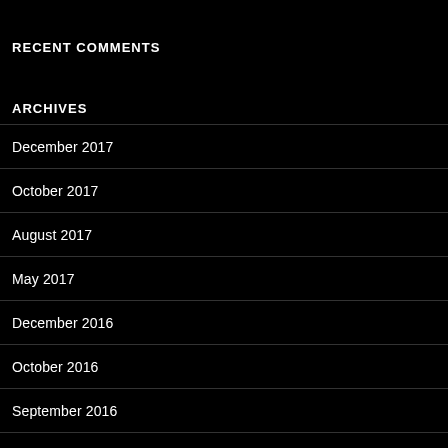RECENT COMMENTS
ARCHIVES
December 2017
October 2017
August 2017
May 2017
December 2016
October 2016
September 2016
August 2016